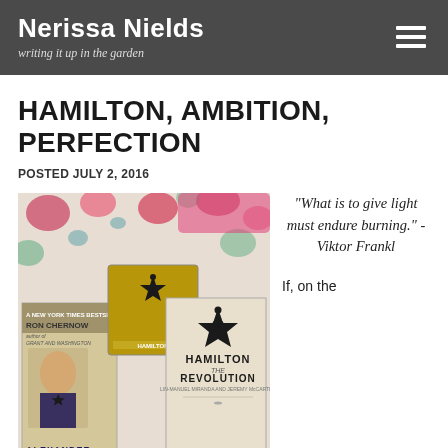Nerissa Nields — writing it up in the garden
HAMILTON, AMBITION, PERFECTION
POSTED JULY 2, 2016
[Figure (photo): Photo of Hamilton-related books and CD on a floral fabric background: Ron Chernow's 'Alexander Hamilton' biography, the Hamilton cast recording CD, and 'Hamilton The Revolution' book.]
"What is to give light must endure burning." -Viktor Frankl
If, on the